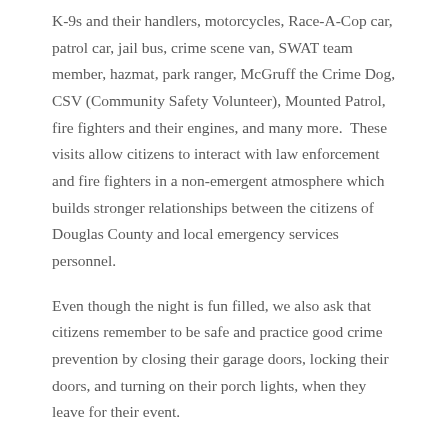K-9s and their handlers, motorcycles, Race-A-Cop car, patrol car, jail bus, crime scene van, SWAT team member, hazmat, park ranger, McGruff the Crime Dog, CSV (Community Safety Volunteer), Mounted Patrol, fire fighters and their engines, and many more.  These visits allow citizens to interact with law enforcement and fire fighters in a non-emergent atmosphere which builds stronger relationships between the citizens of Douglas County and local emergency services personnel.
Even though the night is fun filled, we also ask that citizens remember to be safe and practice good crime prevention by closing their garage doors, locking their doors, and turning on their porch lights, when they leave for their event.